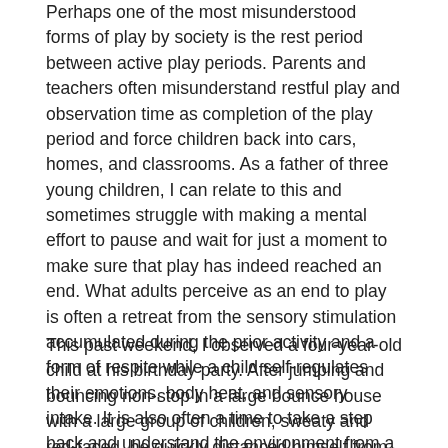Perhaps one of the most misunderstood forms of play by society is the rest period between active play periods. Parents and teachers often misunderstand restful play and observation time as completion of the play period and force children back into cars, homes, and classrooms. As a father of three young children, I can relate to this and sometimes struggle with making a mental effort to pause and wait for just a moment to make sure that play has indeed reached an end. What adults perceive as an end to play is often a retreat from the sensory stimulation accumulated during the prior activity and a form of respite while a child self-regulates their emotions, body heat, and sensory intake. It is also often a time to take a step back and understand the environment from a cognitive and social perspective.
This past weekend, I observed a four-year-old child at his birthday party. After jumping and bouncing non-stop in a large bounce house with a large group of children, sweaty and red-faced, he quickly distanced himself from